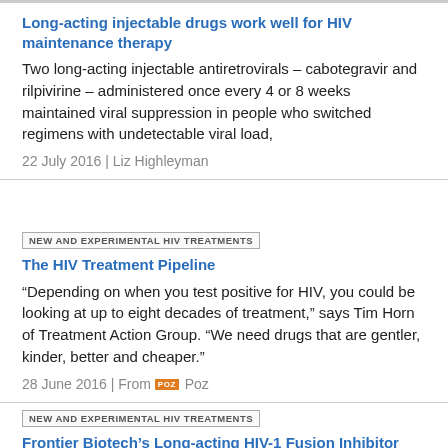Long-acting injectable drugs work well for HIV maintenance therapy
Two long-acting injectable antiretrovirals – cabotegravir and rilpivirine – administered once every 4 or 8 weeks maintained viral suppression in people who switched regimens with undetectable viral load,
22 July 2016 | Liz Highleyman
NEW AND EXPERIMENTAL HIV TREATMENTS
The HIV Treatment Pipeline
“Depending on when you test positive for HIV, you could be looking at up to eight decades of treatment,” says Tim Horn of Treatment Action Group. “We need drugs that are gentler, kinder, better and cheaper.”
28 June 2016 | From Poz
NEW AND EXPERIMENTAL HIV TREATMENTS
Frontier Biotech’s Long-acting HIV-1 Fusion Inhibitor Albuvirtide Meets 48-Week Primary Objective: Interim Results of a Phase 3 Trial